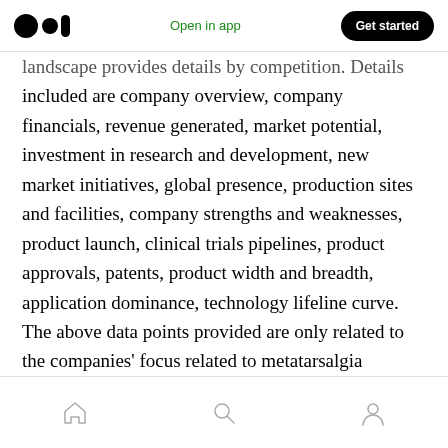Open in app | Get started
landscape provides details by competition. Details included are company overview, company financials, revenue generated, market potential, investment in research and development, new market initiatives, global presence, production sites and facilities, company strengths and weaknesses, product launch, clinical trials pipelines, product approvals, patents, product width and breadth, application dominance, technology lifeline curve. The above data points provided are only related to the companies’ focus related to metatarsalgia treatment market.
Home | Search | Profile